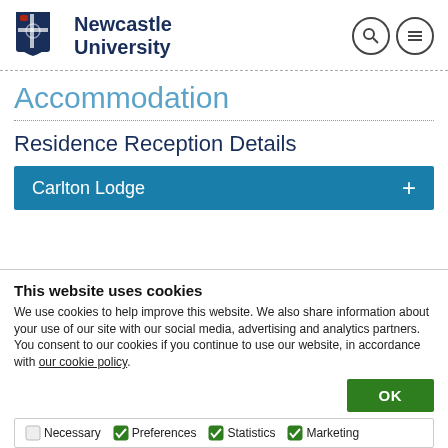Newcastle University
Accommodation
Residence Reception Details
Carlton Lodge +
This website uses cookies
We use cookies to help improve this website. We also share information about your use of our site with our social media, advertising and analytics partners. You consent to our cookies if you continue to use our website, in accordance with our cookie policy.
OK
Necessary  Preferences  Statistics  Marketing